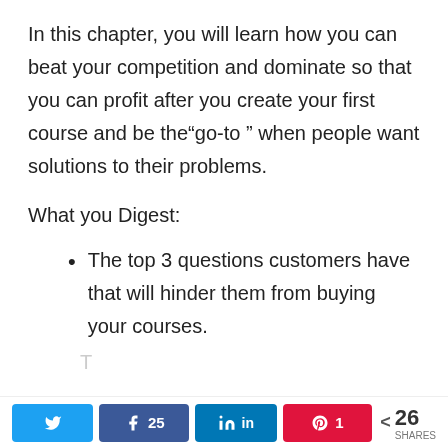In this chapter, you will learn how you can beat your competition and dominate so that you can profit after you create your first course and be the“go-to ” when people want solutions to their problems.
What you Digest:
The top 3 questions customers have that will hinder them from buying your courses.
Twitter | Facebook 25 | LinkedIn | Pinterest 1 | < 26 SHARES